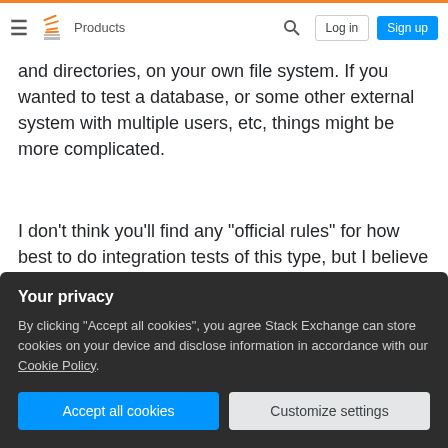≡ [Stack Overflow logo] Products 🔍 Log in Sign up
and directories, on your own file system. If you wanted to test a database, or some other external system with multiple users, etc, things might be more complicated.
I don't think you'll find any "official rules" for how best to do integration tests of this type, but I believe you are on the right track. Some ideas you should strive towards:
Clear standards: Make the rules and purpose
[Figure (screenshot): Privacy cookie consent banner overlay on Stack Overflow website. Dark background with 'Your privacy' heading, cookie consent text, 'Accept all cookies' blue button and 'Customize settings' gray button.]
only slight variations.